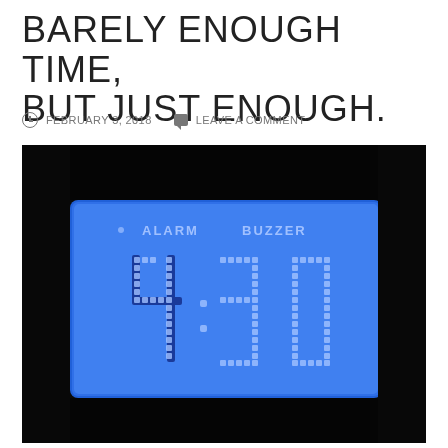BARELY ENOUGH TIME, BUT JUST ENOUGH.
FEBRUARY 3, 2018   LEAVE A COMMENT
[Figure (photo): A digital alarm clock display showing 4:30 on a blue backlit LCD screen, with ALARM and BUZZER labels visible at the top of the display. The clock is set against a dark/black background.]